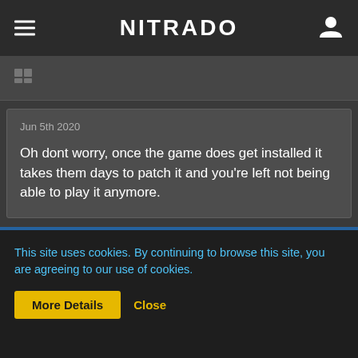NITRADO
Jun 5th 2020

Oh dont worry, once the game does get installed it takes them days to patch it and you're left not being able to play it anymore.
jdm73178 Customer
This site uses cookies. By continuing to browse this site, you are agreeing to our use of cookies.